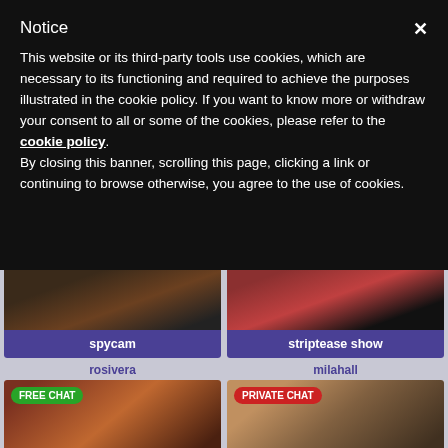Notice
This website or its third-party tools use cookies, which are necessary to its functioning and required to achieve the purposes illustrated in the cookie policy. If you want to know more or withdraw your consent to all or some of the cookies, please refer to the cookie policy.
By closing this banner, scrolling this page, clicking a link or continuing to browse otherwise, you agree to the use of cookies.
[Figure (photo): Cropped photo of legs and heels, dark background — spycam category card]
[Figure (photo): Cropped photo of person in boots by window, red/pink background — striptease show category card]
spycam
striptease show
rosivera
milahall
[Figure (photo): Woman in white lingerie on sofa, FREE CHAT badge, warm tones]
[Figure (photo): Woman in white dress outdoors, PRIVATE CHAT badge, warm tones]